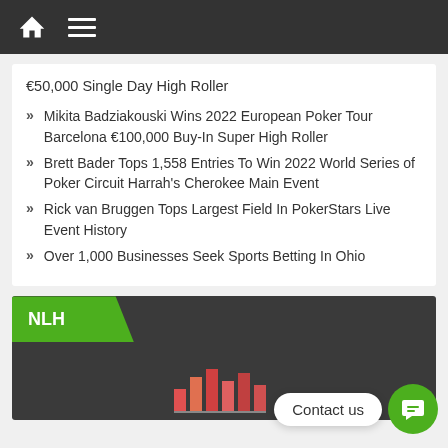€50,000 Single Day High Roller
Mikita Badziakouski Wins 2022 European Poker Tour Barcelona €100,000 Buy-In Super High Roller
Brett Bader Tops 1,558 Entries To Win 2022 World Series of Poker Circuit Harrah's Cherokee Main Event
Rick van Bruggen Tops Largest Field In PokerStars Live Event History
Over 1,000 Businesses Seek Sports Betting In Ohio
[Figure (screenshot): NLH label badge on dark background header with partial image below showing a bar chart visual]